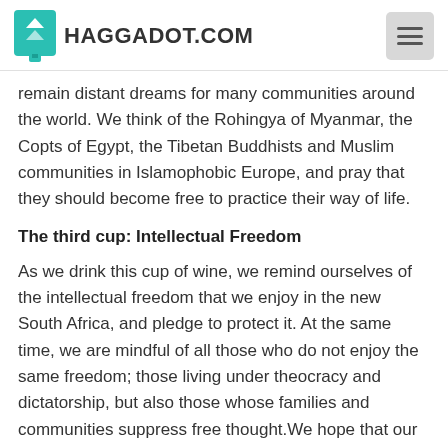HAGGADOT.COM
remain distant dreams for many communities around the world. We think of the Rohingya of Myanmar, the Copts of Egypt, the Tibetan Buddhists and Muslim communities in Islamophobic Europe, and pray that they should become free to practice their way of life.
The third cup: Intellectual Freedom
As we drink this cup of wine, we remind ourselves of the intellectual freedom that we enjoy in the new South Africa, and pledge to protect it. At the same time, we are mindful of all those who do not enjoy the same freedom; those living under theocracy and dictatorship, but also those whose families and communities suppress free thought.We hope that our own Jewish community will one day embrace the freedoms of opinion and